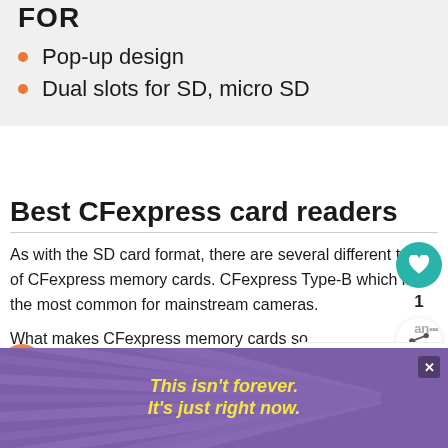FOR
Pop-up design
Dual slots for SD, micro SD
Best CFexpress card readers
As with the SD card format, there are several different types of CFexpress memory cards. CFexpress Type-B which is the most common for mainstream cameras.
What makes CFexpress memory cards so special is the PCIe 2.0 interface technology
[Figure (other): WHAT'S NEXT arrow label with camera jabber logo and text: Which cameras sh...]
[Figure (other): Advertisement banner: This isn't forever. It's just right now. Purple background with yellow text and starburst rays.]